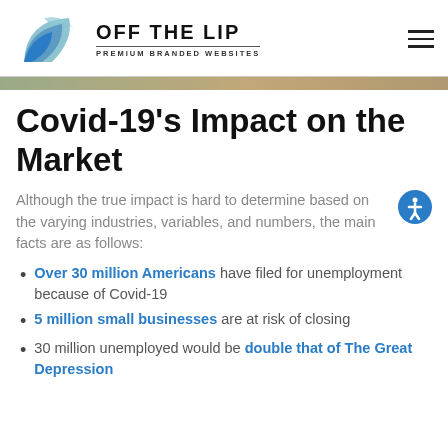OFF THE LIP — PREMIUM BRANDED WEBSITES
Covid-19's Impact on the Market
Although the true impact is hard to determine based on the varying industries, variables, and numbers, the main facts are as follows:
Over 30 million Americans have filed for unemployment because of Covid-19
5 million small businesses are at risk of closing
30 million unemployed would be double that of The Great Depression